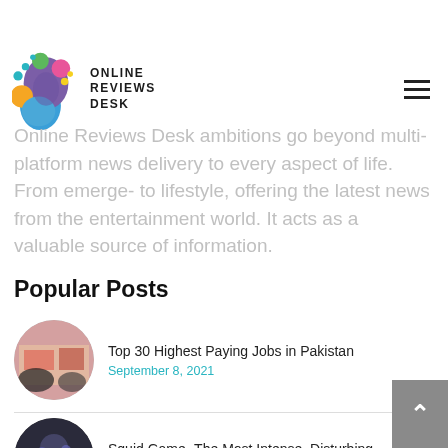Online Reviews Desk
[Figure (logo): Online Reviews Desk logo with colorful brain/head illustration and bold text ONLINE REVIEWS DESK]
Online Reviews Desk ambitions go beyond multi-platform news delivery to every aspect of life. From emerge- to lifestyle, offering the latest news from the entertainment world. It acts as a valuable source of information.
Popular Posts
[Figure (photo): Circular thumbnail photo of Pakistani currency notes and hands]
Top 30 Highest Paying Jobs in Pakistan
September 8, 2021
[Figure (photo): Circular thumbnail photo for Squid Game article]
Squid Game- The Most Intense, Disturbing, and